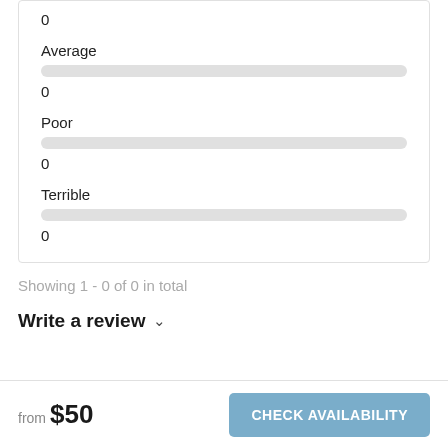0
Average
0
Poor
0
Terrible
0
Showing 1 - 0 of 0 in total
Write a review ∨
from $50
CHECK AVAILABILITY